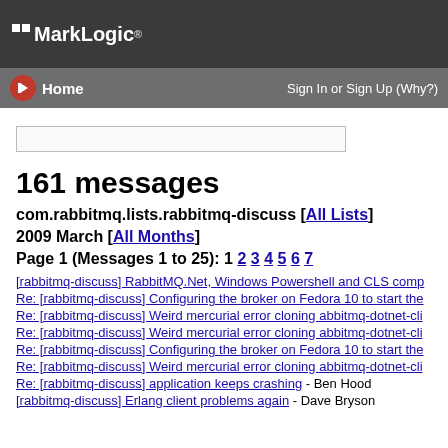MarkLogic
Home | Sign In or Sign Up (Why?)
161 messages
com.rabbitmq.lists.rabbitmq-discuss [All Lists]
2009 March [All Months]
Page 1 (Messages 1 to 25): 1 2 3 4 5 6 7
[rabbitmq-discuss] RabbitMQ.Net, Windows Powershell and CLS comp
Re: [rabbitmq-discuss] Configuring the broker on Fedora 10 to start the
Re: [rabbitmq-discuss] Weird mercurial error cloning abbitmq-dotnet-cli
Re: [rabbitmq-discuss] Weird mercurial error cloning abbitmq-dotnet-cli
Re: [rabbitmq-discuss] Configuring the broker on Fedora 10 to start the
Re: [rabbitmq-discuss] Weird mercurial error cloning abbitmq-dotnet-cli
Re: [rabbitmq-discuss] application keeps crashing - Ben Hood
[rabbitmq-discuss] Erlang client problems again - Dave Bryson